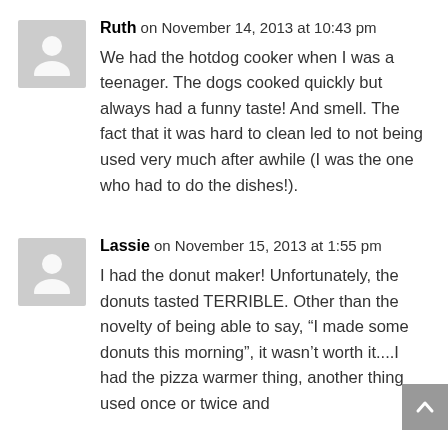[Figure (illustration): Gray avatar placeholder icon for user Ruth]
Ruth on November 14, 2013 at 10:43 pm
We had the hotdog cooker when I was a teenager. The dogs cooked quickly but always had a funny taste! And smell. The fact that it was hard to clean led to not being used very much after awhile (I was the one who had to do the dishes!).
[Figure (illustration): Gray avatar placeholder icon for user Lassie]
Lassie on November 15, 2013 at 1:55 pm
I had the donut maker! Unfortunately, the donuts tasted TERRIBLE. Other than the novelty of being able to say, “I made some donuts this morning”, it wasn’t worth it....I had the pizza warmer thing, another thing used once or twice and